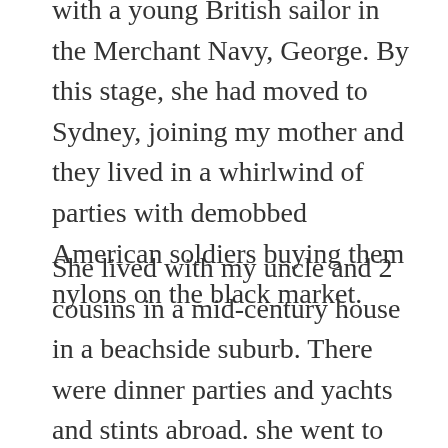with a young British sailor in the Merchant Navy, George. By this stage, she had moved to Sydney, joining my mother and they lived in a whirlwind of parties with demobbed American soldiers buying them nylons on the black market.
She lived with my uncle and 2 cousins in a mid-century house in a beachside suburb. There were dinner parties and yachts and stints abroad. she went to Bali before it was on the overland hippie trail. She attended a batik workshop and for